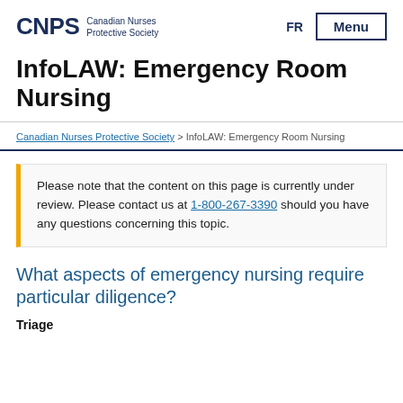CNPS Canadian Nurses Protective Society | FR | Menu
InfoLAW: Emergency Room Nursing
Canadian Nurses Protective Society > InfoLAW: Emergency Room Nursing
Please note that the content on this page is currently under review. Please contact us at 1-800-267-3390 should you have any questions concerning this topic.
What aspects of emergency nursing require particular diligence?
Triage